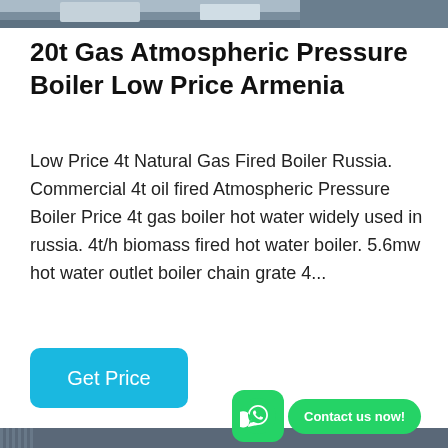[Figure (photo): Top portion of industrial boiler equipment photo, cropped at top of page]
20t Gas Atmospheric Pressure Boiler Low Price Armenia
Low Price 4t Natural Gas Fired Boiler Russia. Commercial 4t oil fired Atmospheric Pressure Boiler Price 4t gas boiler hot water widely used in russia. 4t/h biomass fired hot water boiler. 5.6mw hot water outlet boiler chain grate 4...
Get Price
[Figure (photo): Industrial boiler facility interior showing corrugated metal insulation panels, yellow pipe, and Chinese manufacturer signage (方快锅炉). WhatsApp contact button overlay visible.]